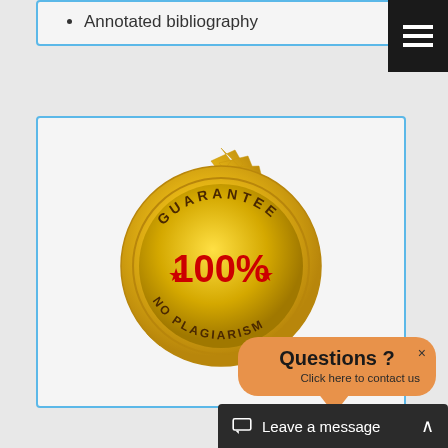Annotated bibliography
[Figure (illustration): Gold seal badge with 'GUARANTEE 100% NO PLAGIARISM' text and red stars]
Questions ? Click here to contact us
Leave a message